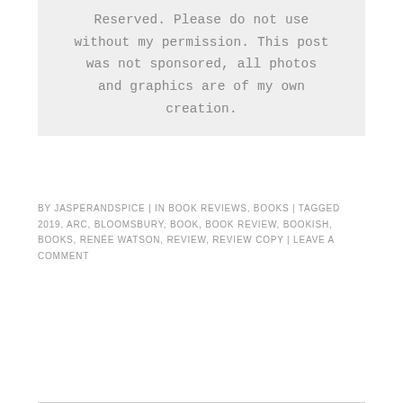Reserved. Please do not use without my permission. This post was not sponsored, all photos and graphics are of my own creation.
BY JASPERANDSPICE | IN BOOK REVIEWS, BOOKS | TAGGED 2019, ARC, BLOOMSBURY, BOOK, BOOK REVIEW, BOOKISH, BOOKS, RENÉE WATSON, REVIEW, REVIEW COPY | LEAVE A COMMENT